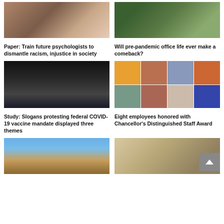[Figure (photo): Group photo of three women standing together]
[Figure (photo): Headshot of man in suit with tie outdoors]
Paper: Train future psychologists to dismantle racism, injustice in society
Will pre-pandemic office life ever make a comeback?
[Figure (photo): Portrait of Asian man resting chin on hand, dark background]
[Figure (photo): Collage of eight employee headshots in a 4x2 grid]
Study: Slogans protesting federal COVID-19 vaccine mandate displayed three themes
Eight employees honored with Chancellor's Distinguished Staff Award
[Figure (photo): Bird perched on rocky outcrop with desert plants against blue sky]
[Figure (photo): Vintage black and white illustration or engraving]